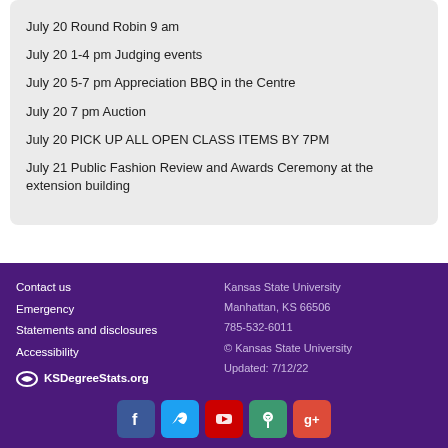July 20 Round Robin 9 am
July 20 1-4 pm Judging events
July 20 5-7 pm Appreciation BBQ in the Centre
July 20 7 pm Auction
July 20 PICK UP ALL OPEN CLASS ITEMS BY 7PM
July 21 Public Fashion Review and Awards Ceremony at the extension building
Contact us
Emergency
Statements and disclosures
Accessibility
KSDegreeStats.org
Kansas State University
Manhattan, KS 66506
785-532-6011
© Kansas State University
Updated: 7/12/22